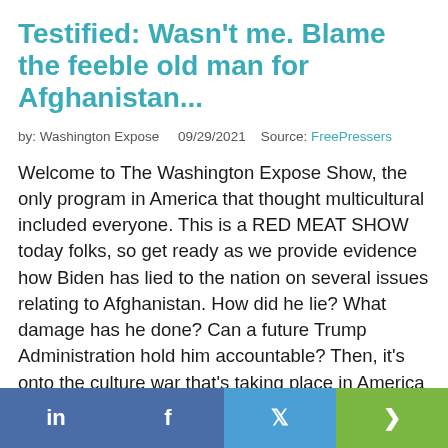Testified: Wasn't me. Blame the feeble old man for Afghanistan...
by: Washington Expose   09/29/2021   Source: FreePressers
Welcome to The Washington Expose Show, the only program in America that thought multicultural included everyone. This is a RED MEAT SHOW today folks, so get ready as we provide evidence how Biden has lied to the nation on several issues relating to Afghanistan. How did he lie? What damage has he done? Can a future Trump Administration hold him accountable? Then, it's onto the culture war that's taking place in America and the hypocrisy that is driving the leftist academia insane and f...